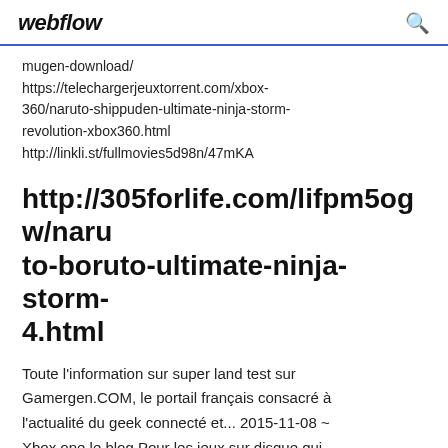webflow
mugen-download/
https://telechargerjeuxtorrent.com/xbox-360/naruto-shippuden-ultimate-ninja-storm-revolution-xbox360.html
http://linkli.st/fullmovies5d98n/47mKA
http://305forlife.com/lifpm5ogw/naruto-boruto-ultimate-ninja-storm-4.html
Toute l'information sur super land test sur Gamergen.COM, le portail français consacré à l'actualité du geek connecté et... 2015-11-08 ~ Xbox one le blog Pour les jeux sur disque qui